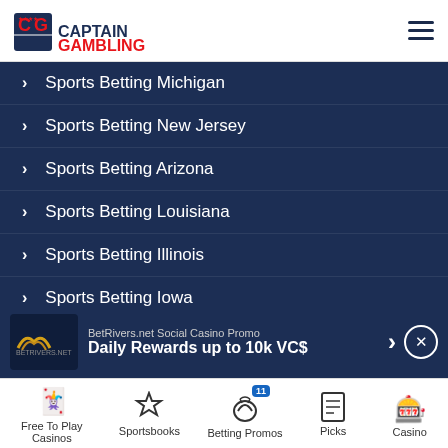CaptainGambling logo and hamburger menu
Sports Betting Michigan
Sports Betting New Jersey
Sports Betting Arizona
Sports Betting Louisiana
Sports Betting Illinois
Sports Betting Iowa
Sports Betting Colorado
Sports Betting Massachusetts
Captaingambling US is available in the following countries:
US – English (US)
[Figure (screenshot): BetRivers.net Social Casino Promo ad banner: Daily Rewards up to 10k VC$]
Free To Play Casinos | Sportsbooks | Betting Promos (11) | Picks | Casino